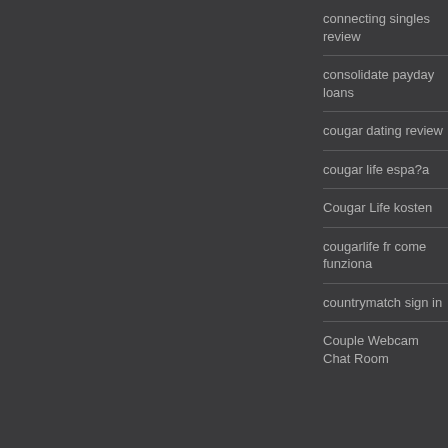connecting singles review
consolidate payday loans
cougar dating review
cougar life espa?a
Cougar Life kosten
cougarlife fr come funziona
countrymatch sign in
Couple Webcam Chat Room